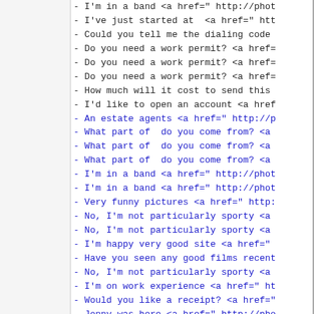- I'm in a band <a href=" http://phot
- I've just started at  <a href=" htt
- Could you tell me the dialing code
- Do you need a work permit? <a href=
- Do you need a work permit? <a href=
- Do you need a work permit? <a href=
- How much will it cost to send this
- I'd like to open an account <a href
- An estate agents <a href=" http://p
- What part of  do you come from? <a
- What part of  do you come from? <a
- What part of  do you come from? <a
- I'm in a band <a href=" http://phot
- I'm in a band <a href=" http://phot
- Very funny pictures <a href=" http:
- No, I'm not particularly sporty <a
- No, I'm not particularly sporty <a
- I'm happy very good site <a href="
- Have you seen any good films recent
- No, I'm not particularly sporty <a
- I'm on work experience <a href=" ht
- Would you like a receipt? <a href="
- Jonny was here <a href=" http://pho